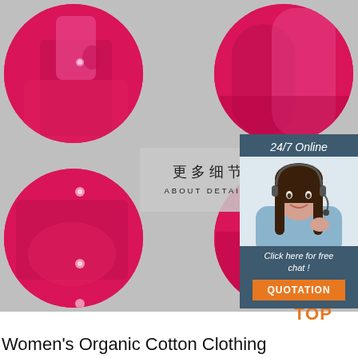[Figure (photo): Four circular photos of pink/hot-pink women's clothing details (collar, sleeve, button, cuff) arranged on a grey fabric background, with Chinese and English text 'About Details' in center]
[Figure (photo): Customer service representative (woman with headset) photo inside a dark teal panel with '24/7 Online', 'Click here for free chat!', and orange QUOTATION button]
[Figure (logo): TOP logo with orange dots in bottom right corner]
Women's Organic Cotton Clothing